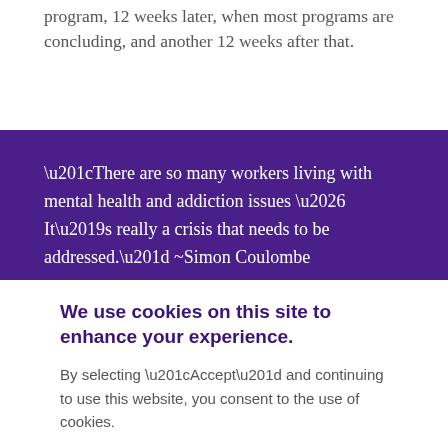program, 12 weeks later, when most programs are concluding, and another 12 weeks after that.
“There are so many workers living with mental health and addiction issues … It’s really a crisis that needs to be addressed.” ~Simon Coulombe
We use cookies on this site to enhance your experience.
By selecting “Accept” and continuing to use this website, you consent to the use of cookies.
Accept